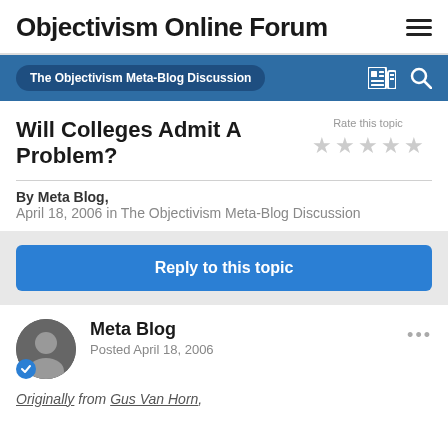Objectivism Online Forum
The Objectivism Meta-Blog Discussion
Will Colleges Admit A Problem?
Rate this topic
By Meta Blog,
April 18, 2006 in The Objectivism Meta-Blog Discussion
Reply to this topic
Meta Blog
Posted April 18, 2006
Originally from Gus Van Horn,